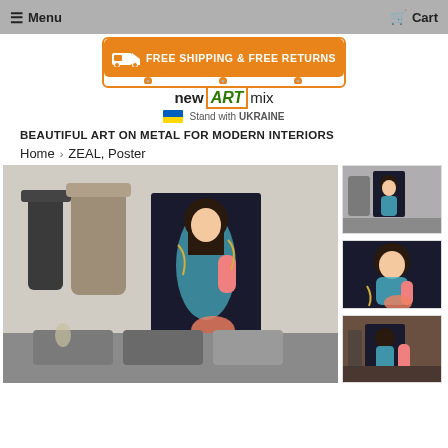Menu   Cart
[Figure (illustration): Orange truck banner reading FREE SHIPPING & FREE RETURNS]
[Figure (logo): newARTmix logo with Stand with UKRAINE text and Ukrainian flag]
BEAUTIFUL ART ON METAL FOR MODERN INTERIORS
Home > ZEAL, Poster
[Figure (photo): Main product image: ZEAL poster artwork shown hanging in a bedroom setting with clothing and brick wall]
[Figure (photo): Thumbnail 1: ZEAL poster in room setting]
[Figure (photo): Thumbnail 2: ZEAL poster close-up]
[Figure (photo): Thumbnail 3: ZEAL poster in gallery/room setting]